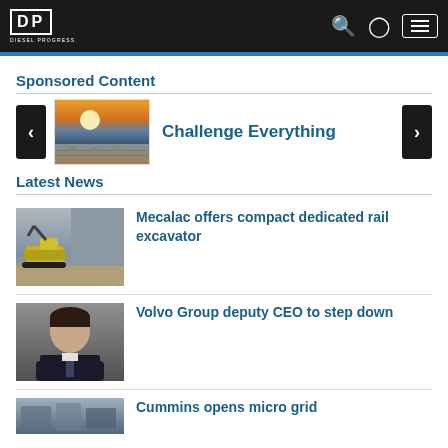Diesel Progress
Sponsored Content
[Figure (photo): Sponsored content carousel with an image of a sunset over a field/industrial scene and navigation arrows. Title: Challenge Everything]
Latest News
[Figure (photo): Mecalac compact rail excavator parked in front of a building]
Mecalac offers compact dedicated rail excavator
[Figure (photo): Volvo Group deputy CEO headshot - man in suit]
Volvo Group deputy CEO to step down
[Figure (photo): Cummins news item image (partially visible)]
Cummins opens micro grid